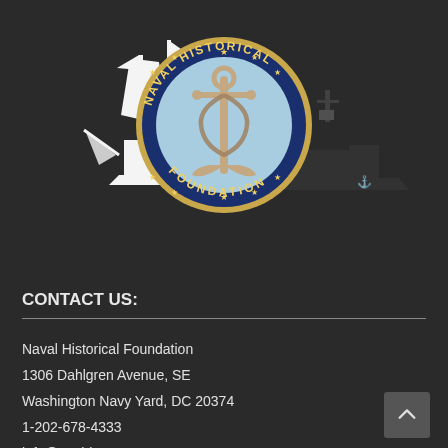[Figure (logo): Naval Historical Foundation logo — circular emblem with navy blue border, gold text reading NAVAL HISTORICAL FOUNDATION, light blue interior with a fouled anchor (rope-wrapped) in tan/beige, gold stars, overlaid on silhouettes of a tall sailing ship (white sails) on the left and a modern warship (black) on the right, against a dark background.]
CONTACT US:
Naval Historical Foundation
1306 Dahlgren Avenue, SE
Washington Navy Yard, DC 20374
1-202-678-4333
info@navhistory.org